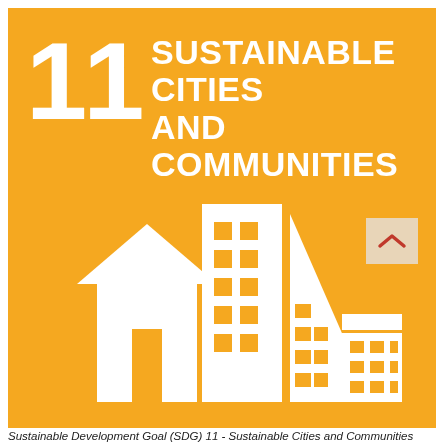[Figure (illustration): UN Sustainable Development Goal 11 icon: orange square background with large bold white number '11' and text 'SUSTAINABLE CITIES AND COMMUNITIES', and white cityscape illustration showing a house, tall building, triangular skyscraper, and low-rise building with windows. A small beige scroll-to-top button appears in the upper right of the icon.]
Sustainable Development Goal (SDG) 11 - Sustainable Cities and Communities